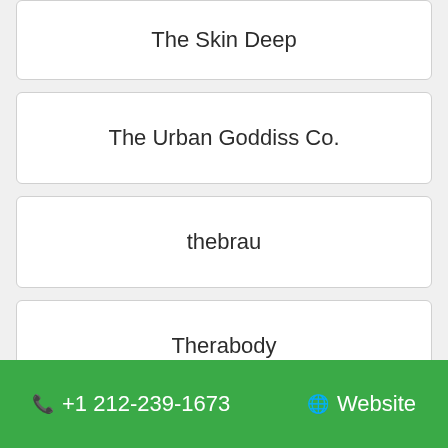The Skin Deep
The Urban Goddiss Co.
thebrau
Therabody
TheraBreath
📞 +1 212-239-1673    🌐 Website